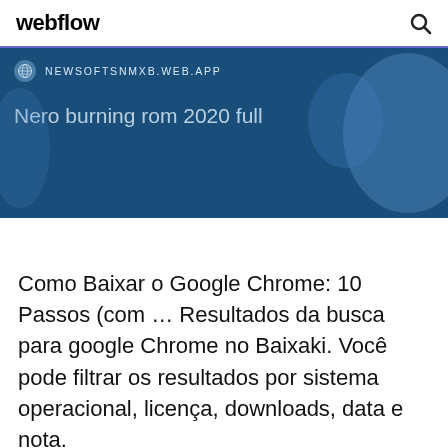webflow
[Figure (screenshot): Blue banner with URL bar showing NEWSOFTSNMXB.WEB.APP and title text 'Nero burning rom 2020 full']
Como Baixar o Google Chrome: 10 Passos (com ... Resultados da busca para google Chrome no Baixaki. Você pode filtrar os resultados por sistema operacional, licença, downloads, data e nota.